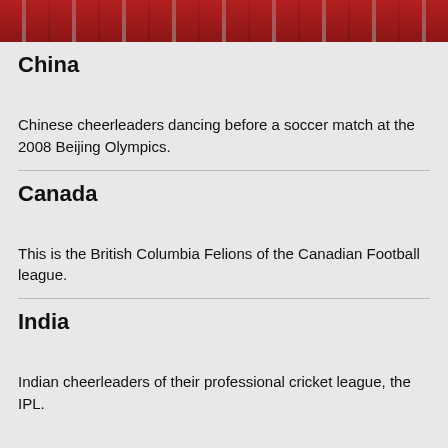[Figure (photo): Partial photo of Chinese cheerleaders in red and silver costumes at the top of the page]
China
Chinese cheerleaders dancing before a soccer match at the 2008 Beijing Olympics.
Canada
This is the British Columbia Felions of the Canadian Football league.
India
Indian cheerleaders of their professional cricket league, the IPL.